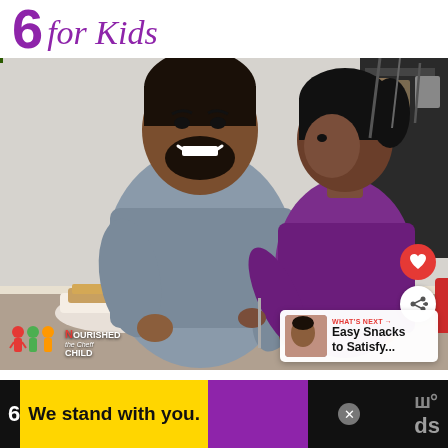for Kids
[Figure (photo): A smiling man and a young girl eating breakfast together at a kitchen table. The man in a grey t-shirt is laughing, the girl in a purple top is reaching across. Food and red mugs on the table, brick wall background.]
WHAT'S NEXT → Easy Snacks to Satisfy...
We stand with you.
6 ... ds